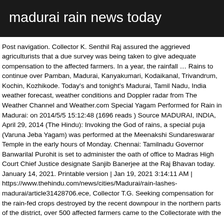madurai rain news today
Post navigation. Collector K. Senthil Raj assured the aggrieved agriculturists that a due survey was being taken to give adequate compensation to the affected farmers. In a year, the rainfall … Rains to continue over Pamban, Madurai, Kanyakumari, Kodaikanal, Trivandrum, Kochin, Kozhikode. Today's and tonight's Madurai, Tamil Nadu, India weather forecast, weather conditions and Doppler radar from The Weather Channel and Weather.com Special Yagam Performed for Rain in Madurai: on 2014/5/5 15:12:48 (1696 reads ) Source MADURAI, INDIA, April 29, 2014 (The Hindu): Invoking the God of rains, a special puja (Varuna Jeba Yagam) was performed at the Meenakshi Sundareswarar Temple in the early hours of Monday. Chennai: Tamilnadu Governor Banwarilal Purohit is set to administer the oath of office to Madras High Court Chief Justice designate Sanjib Banerjee at the Raj Bhavan today. January 14, 2021. Printable version | Jan 19, 2021 3:14:11 AM | https://www.thehindu.com/news/cities/Madurai/rain-lashes-madurai/article31428706.ece, Collector T.G. Seeking compensation for the rain-fed crops destroyed by the recent downpour in the northern parts of the district, over 500 affected farmers came to the Collectorate with the